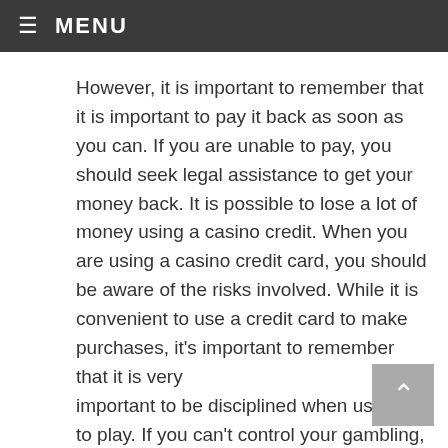≡ MENU
However, it is important to remember that it is important to pay it back as soon as you can. If you are unable to pay, you should seek legal assistance to get your money back. It is possible to lose a lot of money using a casino credit. When you are using a casino credit card, you should be aware of the risks involved. While it is convenient to use a credit card to make purchases, it's important to remember that it is very important to be disciplined when using it to play. If you can't control your gambling, it can be a huge problem. If you have doubts about your budgeting skills, it's best not to use casino credits. If you need to take out a casino credit card, it's important to know what you're signing up for.